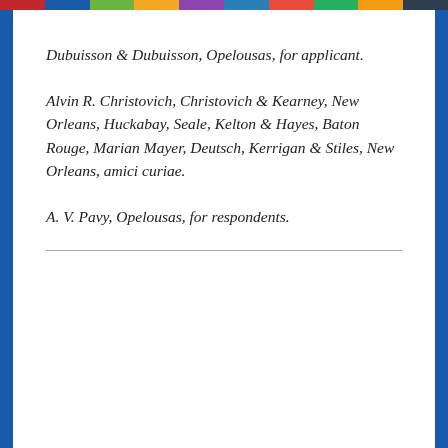Dubuisson & Dubuisson, Opelousas, for applicant.
Alvin R. Christovich, Christovich & Kearney, New Orleans, Huckabay, Seale, Kelton & Hayes, Baton Rouge, Marian Mayer, Deutsch, Kerrigan & Stiles, New Orleans, amici curiae.
A. V. Pavy, Opelousas, for respondents.